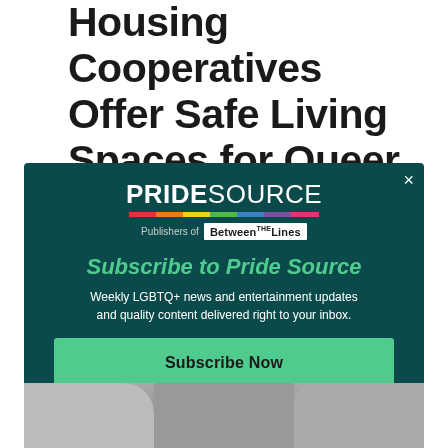Housing Cooperatives Offer Safe Living Spaces for Queer Folks, Foster Unique Community
[Figure (screenshot): PrideSource modal overlay on a dark teal background, showing the PrideSource logo with rainbow bar, 'Publishers of Between The Lines', a 'Subscribe to Pride Source' heading in green italic, body text about weekly LGBTQ+ news, and a green 'Subscribe Now' button. A close (×) button is top right.]
[Figure (photo): Bottom partial strip showing a house or building exterior with trees, partially obscured by the modal overlay.]